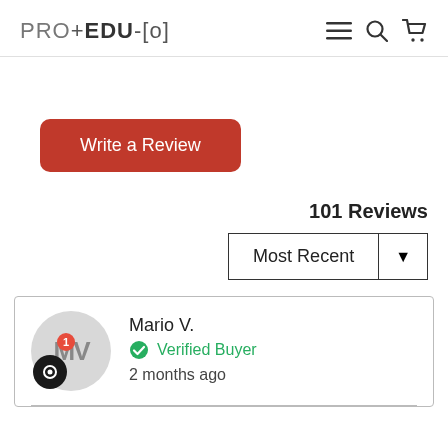PRO+EDU-[o]
Write a Review
101 Reviews
Most Recent
Mario V.
Verified Buyer
2 months ago